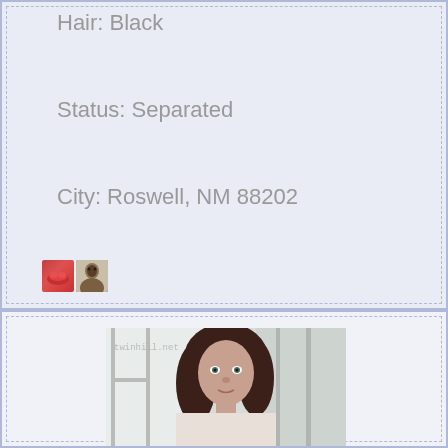Hair: Black
Status: Separated
City: Roswell, NM 88202
[Figure (photo): Two small thumbnail images of a person]
[Figure (photo): Photo of a woman with dark brown hair, watermarked with twinhill.net]